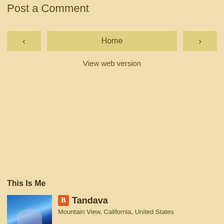Post a Comment
< Home >
View web version
This Is Me
[Figure (photo): Profile photo with blue gradient background showing a silhouette]
Tandava
Mountain View, California, United States